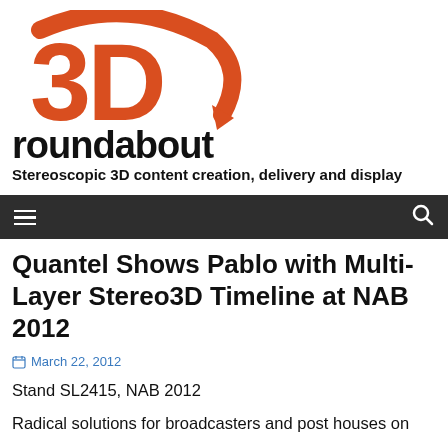[Figure (logo): 3D Roundabout logo — large orange bold '3D' text with a curved arrow/roundabout graphic, followed by 'roundabout' in black sans-serif below]
Stereoscopic 3D content creation, delivery and display
Navigation bar with hamburger menu icon and search icon
Quantel Shows Pablo with Multi-Layer Stereo3D Timeline at NAB 2012
March 22, 2012
Stand SL2415, NAB 2012
Radical solutions for broadcasters and post houses on